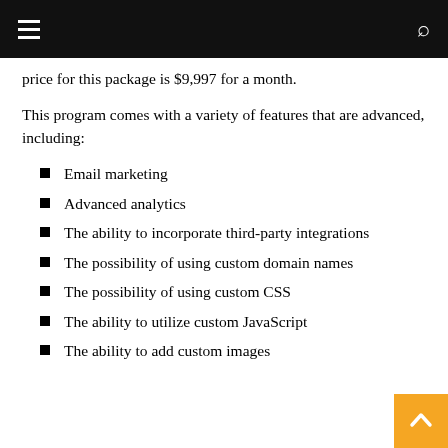price for this package is $9,997 for a month.
This program comes with a variety of features that are advanced, including:
Email marketing
Advanced analytics
The ability to incorporate third-party integrations
The possibility of using custom domain names
The possibility of using custom CSS
The ability to utilize custom JavaScript
The ability to add custom images